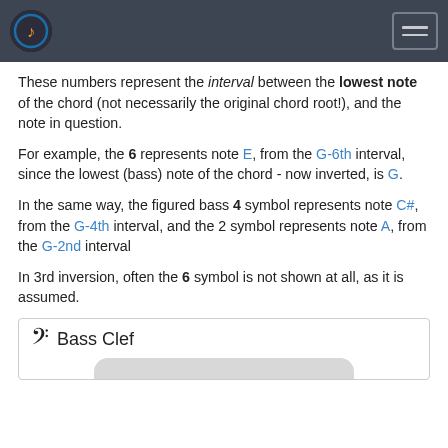Music theory page header with logo and navigation
These numbers represent the interval between the lowest note of the chord (not necessarily the original chord root!), and the note in question.
For example, the 6 represents note E, from the G-6th interval, since the lowest (bass) note of the chord - now inverted, is G.
In the same way, the figured bass 4 symbol represents note C#, from the G-4th interval, and the 2 symbol represents note A, from the G-2nd interval
In 3rd inversion, often the 6 symbol is not shown at all, as it is assumed.
Bass Clef